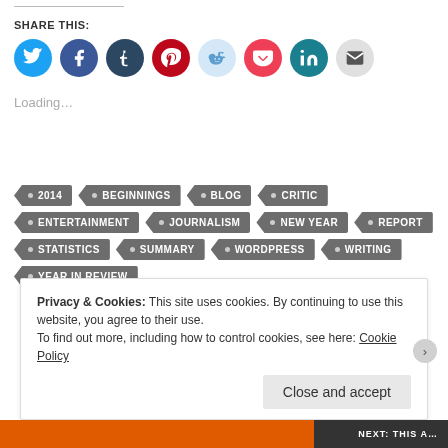SHARE THIS:
[Figure (infographic): Row of social media share icon circles: Twitter (blue), Facebook (dark blue), Tumblr (dark navy), Pinterest (red), Reddit (light blue), Pocket (red/white), LinkedIn (teal), Email (gray)]
Loading…
• 2014
• BEGINNINGS
• BLOG
• CRITIC
• ENTERTAINMENT
• JOURNALISM
• NEW YEAR
• REPORT
• STATISTICS
• SUMMARY
• WORDPRESS
• WRITING
• YEAR IN REVIEW
Privacy & Cookies: This site uses cookies. By continuing to use this website, you agree to their use. To find out more, including how to control cookies, see here: Cookie Policy
Close and accept